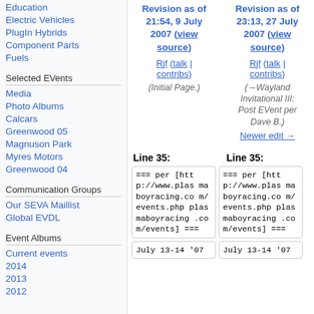Education
Electric Vehicles
PlugIn Hybrids
Component Parts
Fuels
Selected EVents
Media
Photo Albums
Calcars
Greenwood 05
Magnuson Park
Myres Motors
Greenwood 04
Communication Groups
Our SEVA Maillist
Global EVDL
Event Albums
Current events
2014
2013
2012
Revision as of 21:54, 9 July 2007 (view source)
Rjf (talk | contribs)
(Initial Page.)
Revision as of 23:13, 27 July 2007 (view source)
Rjf (talk | contribs)
(→Wayland Invitational III: Post EVent per Dave B.)
Newer edit →
Line 35:
Line 35:
=== per [http://www.plasmaboyracing.com/events.php plasmaboyracing.com/events] ===
=== per [http://www.plasmaboyracing.com/events.php plasmaboyracing.com/events] ===
July 13-14 '07
July 13-14 '07